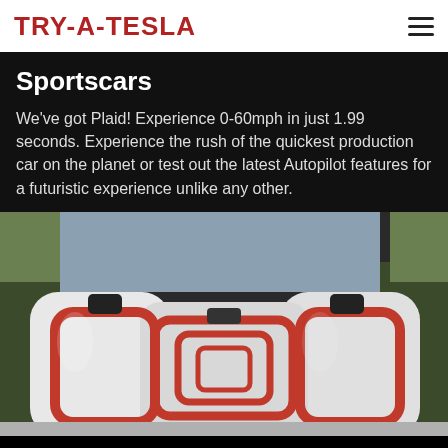TRY-A-TESLA
Sportscars
We've got Plaid! Experience 0-60mph in just 1.99 seconds. Experience the rush of the quickest production car on the planet or test out the latest Autopilot features for a futuristic experience unlike any other.
[Figure (photo): Tesla Supercharger station with multiple red-framed charging connectors lined up in a row, white charger bodies, outdoor setting with trees in background]